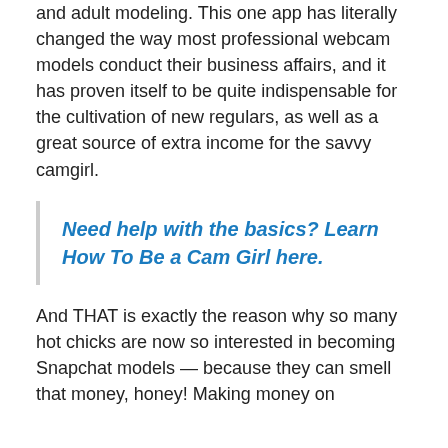and adult modeling. This one app has literally changed the way most professional webcam models conduct their business affairs, and it has proven itself to be quite indispensable for the cultivation of new regulars, as well as a great source of extra income for the savvy camgirl.
Need help with the basics? Learn How To Be a Cam Girl here.
And THAT is exactly the reason why so many hot chicks are now so interested in becoming Snapchat models — because they can smell that money, honey! Making money on